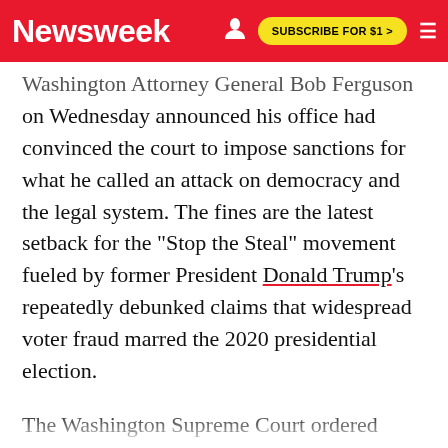Newsweek | SUBSCRIBE FOR $1 >
Washington Attorney General Bob Ferguson on Wednesday announced his office had convinced the court to impose sanctions for what he called an attack on democracy and the legal system. The fines are the latest setback for the "Stop the Steal" movement fueled by former President Donald Trump's repeatedly debunked claims that widespread voter fraud marred the 2020 presidential election.
The Washington Supreme Court ordered nonprofit Washington Election Integrity